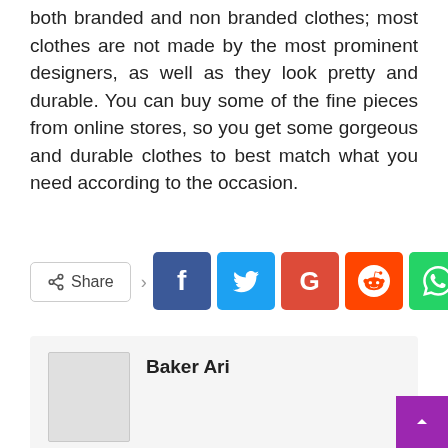both branded and non branded clothes; most clothes are not made by the most prominent designers, as well as they look pretty and durable. You can buy some of the fine pieces from online stores, so you get some gorgeous and durable clothes to best match what you need according to the occasion.
[Figure (infographic): Social share bar with Share button and icons for Facebook, Twitter, Google+, Reddit, WhatsApp, and a more (+) button]
[Figure (infographic): Author box with avatar placeholder and author name 'Baker Ari']